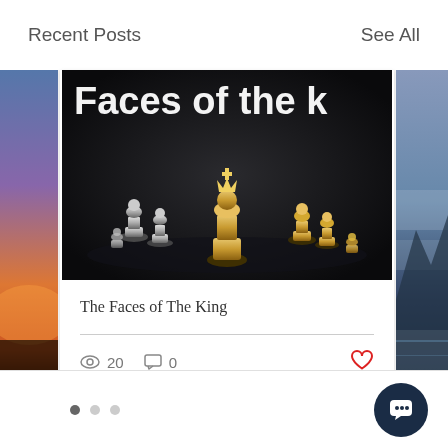Recent Posts
See All
[Figure (photo): Partial left card showing a sunset/sky gradient in orange and purple tones]
[Figure (photo): Chess pieces on dark background with text overlay 'Faces of the k' (cropped). Gold king chess piece in center surrounded by silver and gold pawns.]
The Faces of The King
20
0
[Figure (photo): Partial right card showing misty blue mountain/lake landscape]
pagination dots (3 dots, first active)
[Figure (illustration): Chat bubble button icon in dark navy circle]